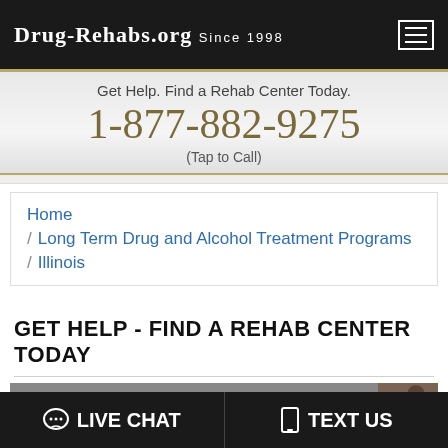Drug-Rehabs.org Since 1998
Get Help. Find a Rehab Center Today.
1-877-882-9275
(Tap to Call)
Home / Long Term Drug and Alcohol Treatment Programs / Illinois
GET HELP - FIND A REHAB CENTER TODAY
Choose The Right Rehab Center For You!
LIVE CHAT   TEXT US